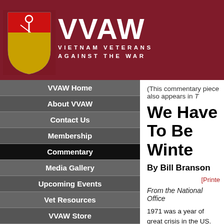[Figure (logo): VVAW header banner with shield logo and protest photo background. Text reads VVAW VIETNAM VETERANS AGAINST THE WAR]
VVAW Home
About VVAW
Contact Us
Membership
Commentary
Media Gallery
Upcoming Events
Vet Resources
VVAW Store
THE VETERAN
FAQ
SUPPORT VVAW WITH A TAX-DEDUCTIBLE DONATION
(This commentary piece also appears in T
We Have To Be Winte
By Bill Branson
[Printe
From the National Office
1971 was a year of great crisis in the US. 197... VVAW.
2021 is the 50th anniversary of many of VVAW... Playboy ad, the Winter Soldier Investigations... Operation POW, Operation Peace on Earth, a
In this issue and the next, we will feature me